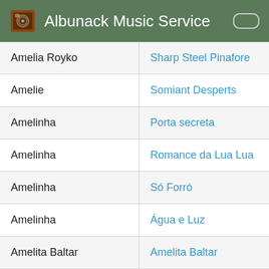Albunack Music Service
| Artist | Album |
| --- | --- |
| Amelia Royko | Sharp Steel Pinafore |
| Amelie | Somiant Desperts |
| Amelinha | Porta secreta |
| Amelinha | Romance da Lua Lua |
| Amelinha | Só Forró |
| Amelinha | Água e Luz |
| Amelita Baltar | Amelita Baltar |
| Amelita Baltar | Interpreta a Piazzolla y Ferrer |